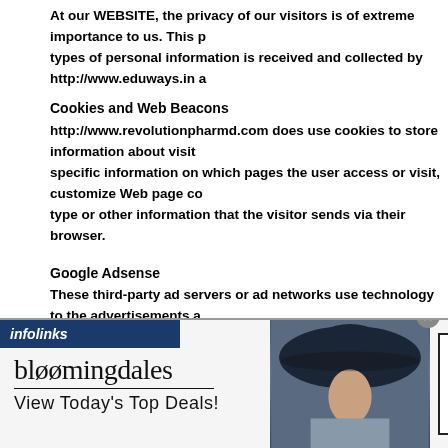At our WEBSITE, the privacy of our visitors is of extreme importance to us. This p... types of personal information is received and collected by http://www.eduways.in a...
Cookies and Web Beacons
http://www.revolutionpharmd.com does use cookies to store information about visit... specific information on which pages the user access or visit, customize Web page co... type or other information that the visitor sends via their browser.
Google Adsense
These third-party ad servers or ad networks use technology to the advertisements a... http://www.revolutionpharmd.com send directly to your browsers. They automatica... this occurs. Other technologies (Such as cookies, JavaScript, or Web Beacons) may a... networks to measure the effectiveness of their advertisements and/or to personalize... see.
http://www.revolutionpharmd.com has no access to or control over these cookies tha...
[Figure (screenshot): Bloomingdales advertisement banner: logo text 'bloomingdales', tagline 'View Today's Top Deals!', model photo with wide-brim hat, 'SHOP NOW >' button. Infolinks label bar at top-left.]